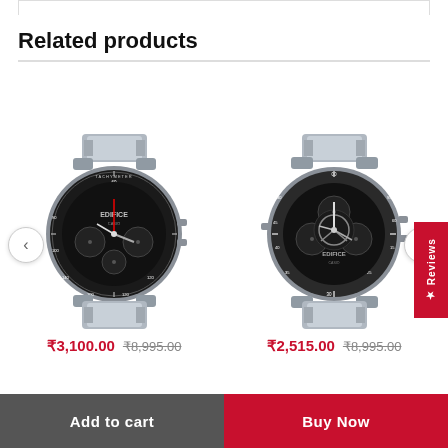Related products
[Figure (photo): Casio Edifice chronograph watch with black tachymeter dial and silver stainless steel bracelet]
₹3,100.00 ₹8,995.00
[Figure (photo): Casio Edifice chronograph watch with black dial and silver stainless steel bracelet]
₹2,515.00 ₹8,995.00
Add to cart
Buy Now